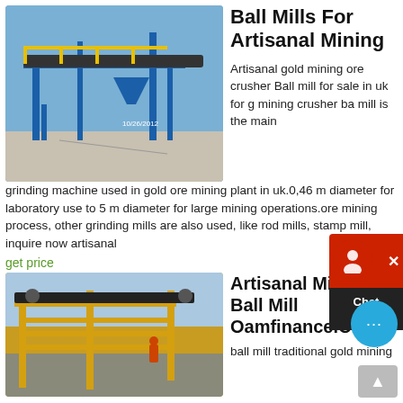[Figure (photo): Blue industrial ball mill / mining conveyor equipment photographed outdoors, date stamp 10/26/2012]
Ball Mills For Artisanal Mining
Artisanal gold mining ore crusher Ball mill for sale in uk for g mining crusher ba mill is the main grinding machine used in gold ore mining plant in uk.0,46 m diameter for laboratory use to 5 m diameter for large mining operations.ore mining process, other grinding mills are also used, like rod mills, stamp mill, inquire now artisanal
get price
[Figure (photo): Yellow industrial mining crusher/ball mill equipment photographed outdoors]
Artisanal Mining Ball Mill Oamfinance.Ch
ball mill traditional gold mining